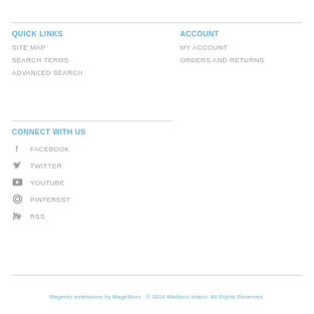QUICK LINKS
SITE MAP
SEARCH TERMS
ADVANCED SEARCH
ACCOUNT
MY ACCOUNT
ORDERS AND RETURNS
CONNECT WITH US
FACEBOOK
TWITTER
YOUTUBE
PINTEREST
RSS
Magento extensions by MageWorx  © 2014 Madison Island. All Rights Reserved.